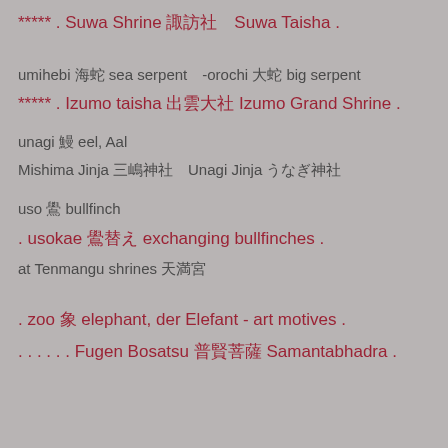***** . Suwa Shrine 諏訪社　Suwa Taisha .
umihebi 海蛇 sea serpent　-orochi 大蛇 big serpent
***** . Izumo taisha 出雲大社 Izumo Grand Shrine .
unagi 鰻 eel, Aal
Mishima Jinja 三嶋神社　Unagi Jinja うなぎ神社
uso 鷽 bullfinch
. usokae 鷽替え exchanging bullfinches .
at Tenmangu shrines 天満宮
. zoo 象 elephant, der Elefant - art motives .
. . . . . . Fugen Bosatsu 普賢菩薩 Samantabhadra .